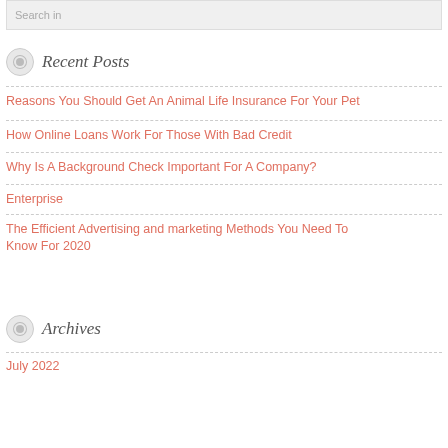Search in
Recent Posts
Reasons You Should Get An Animal Life Insurance For Your Pet
How Online Loans Work For Those With Bad Credit
Why Is A Background Check Important For A Company?
Enterprise
The Efficient Advertising and marketing Methods You Need To Know For 2020
Archives
July 2022